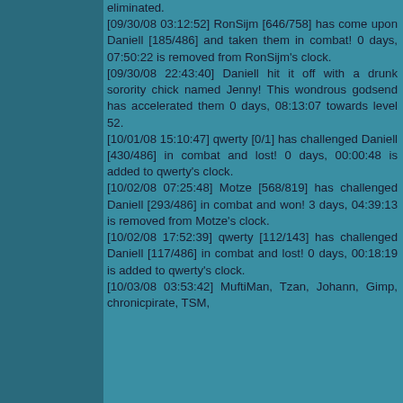eliminated.
[09/30/08 03:12:52] RonSijm [646/758] has come upon Daniell [185/486] and taken them in combat! 0 days, 07:50:22 is removed from RonSijm's clock.
[09/30/08 22:43:40] Daniell hit it off with a drunk sorority chick named Jenny! This wondrous godsend has accelerated them 0 days, 08:13:07 towards level 52.
[10/01/08 15:10:47] qwerty [0/1] has challenged Daniell [430/486] in combat and lost! 0 days, 00:00:48 is added to qwerty's clock.
[10/02/08 07:25:48] Motze [568/819] has challenged Daniell [293/486] in combat and won! 3 days, 04:39:13 is removed from Motze's clock.
[10/02/08 17:52:39] qwerty [112/143] has challenged Daniell [117/486] in combat and lost! 0 days, 00:18:19 is added to qwerty's clock.
[10/03/08 03:53:42] MuftiMan, Tzan, Johann, Gimp, chronicpirate, TSM,